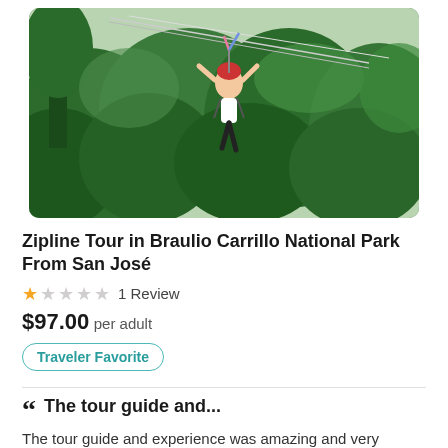[Figure (photo): Person on a zipline over a tropical green forest canopy, wearing a helmet and harness, with zipline cables visible above.]
Zipline Tour in Braulio Carrillo National Park From San José
1 Review
$97.00 per adult
Traveler Favorite
The tour guide and...
The tour guide and experience was amazing and very welcoming. I would highly recommend you try this and